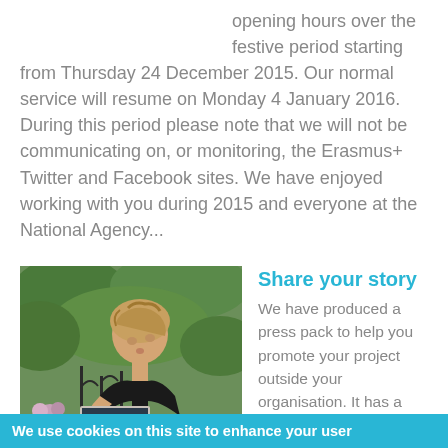opening hours over the festive period starting from Thursday 24 December 2015. Our normal service will resume on Monday 4 January 2016. During this period please note that we will not be communicating on, or monitoring, the Erasmus+ Twitter and Facebook sites. We have enjoyed working with you during 2015 and everyone at the National Agency...
[Figure (photo): Young woman with braided hair sitting outdoors at a table, working on a laptop, wearing a black sleeveless top, with flowers and ornamental ironwork railing in the background]
Share your story
We have produced a press pack to help you promote your project outside your organisation. It has a range of resources to help you
We use cookies on this site to enhance your user